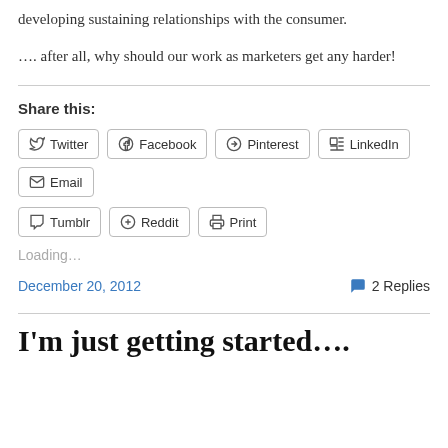developing sustaining relationships with the consumer.
…. after all, why should our work as marketers get any harder!
Share this:
Twitter Facebook Pinterest LinkedIn Email Tumblr Reddit Print
Loading…
December 20, 2012   2 Replies
I'm just getting started….